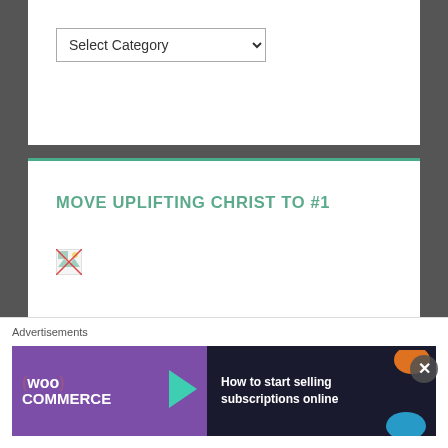Select Category
MOVE UPLIFTING CHRIST TO #1
[Figure (illustration): Broken image placeholder icon]
LIKE UPLIFTING CHRIST ON FACEBOOK
Advertisements
[Figure (infographic): WooCommerce advertisement banner: 'How to start selling subscriptions online']